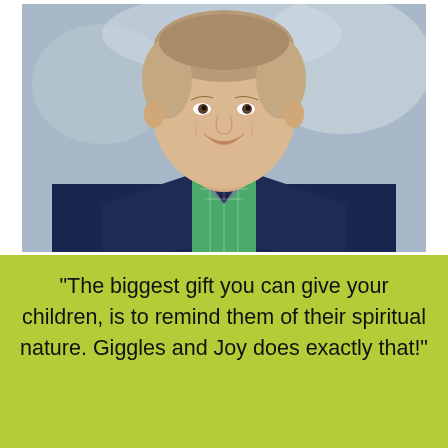[Figure (photo): Headshot of a smiling middle-aged man wearing a navy blazer over a green and white gingham/checkered shirt, with a blurred outdoor background.]
“The biggest gift you can give your children, is to remind them of their spiritual nature. Giggles and Joy does exactly that!”